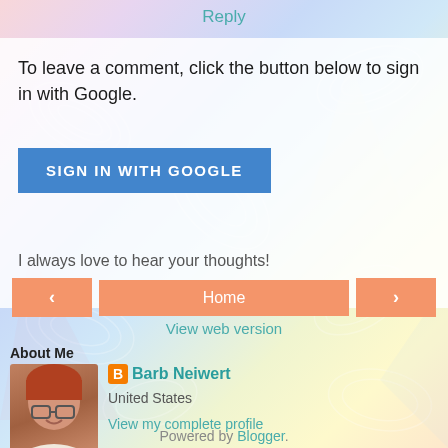Reply
To leave a comment, click the button below to sign in with Google.
[Figure (screenshot): Blue 'SIGN IN WITH GOOGLE' button]
I always love to hear your thoughts!
[Figure (screenshot): Navigation bar with left arrow, Home button, right arrow in salmon/orange color]
View web version
About Me
[Figure (photo): Profile photo of a woman with glasses and red hair, smiling]
Barb Neiwert
United States
View my complete profile
Powered by Blogger.